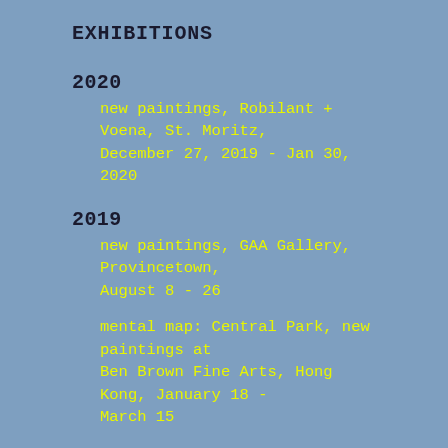EXHIBITIONS
2020
new paintings, Robilant + Voena, St. Moritz, December 27, 2019 - Jan 30, 2020
2019
new paintings, GAA Gallery, Provincetown, August 8 - 26
mental map: Central Park, new paintings at Ben Brown Fine Arts, Hong Kong, January 18 - March 15
2018
new paintings, Ben Brown Fine Arts, London, February 1 - April 12 (catalog)
2016
new paintings, albertz benda gallery, New York, October 27 - December 17